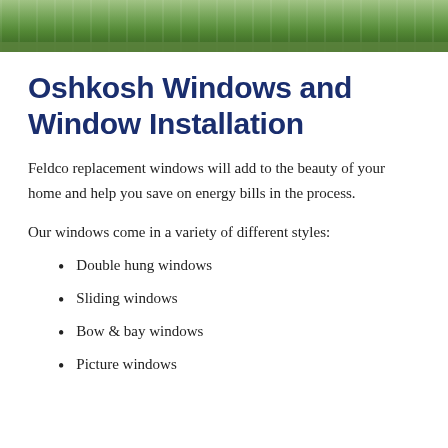[Figure (photo): Outdoor photo strip showing green lawn/grass area, partial view of a home exterior]
Oshkosh Windows and Window Installation
Feldco replacement windows will add to the beauty of your home and help you save on energy bills in the process.
Our windows come in a variety of different styles:
Double hung windows
Sliding windows
Bow & bay windows
Picture windows